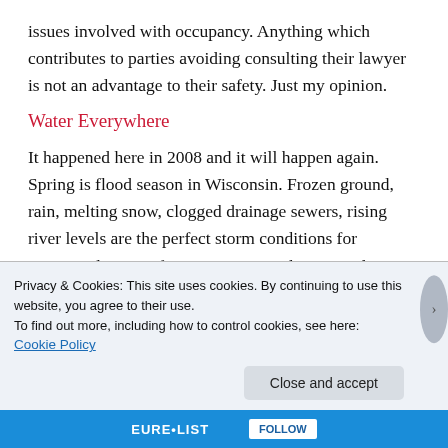issues involved with occupancy. Anything which contributes to parties avoiding consulting their lawyer is not an advantage to their safety. Just my opinion.
Water Everywhere
It happened here in 2008 and it will happen again. Spring is flood season in Wisconsin. Frozen ground, rain, melting snow, clogged drainage sewers, rising river levels are the perfect storm conditions for property damage after acceptance and prior to closing. It's never too soon to sharpen your skills in the
Privacy & Cookies: This site uses cookies. By continuing to use this website, you agree to their use.
To find out more, including how to control cookies, see here:
Cookie Policy